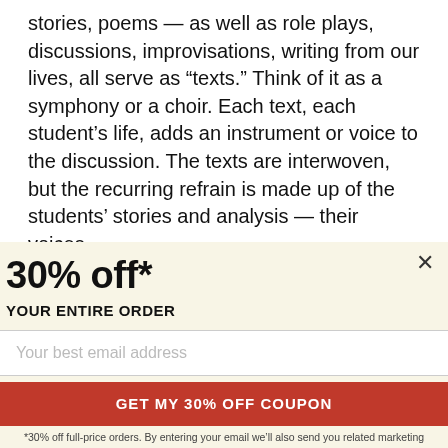stories, poems — as well as role plays, discussions, improvisations, writing from our lives, all serve as “texts.” Think of it as a symphony or a choir. Each text, each student’s life, adds an instrument or voice to the discussion. The texts are interwoven, but the recurring refrain is made up of the students’ stories and analysis — their voices,
30% off*
YOUR ENTIRE ORDER
Your best email address
GET MY 30% OFF COUPON
*30% off full-price orders. By entering your email we’ll also send you related marketing emails. You can unsubscribe at anytime.